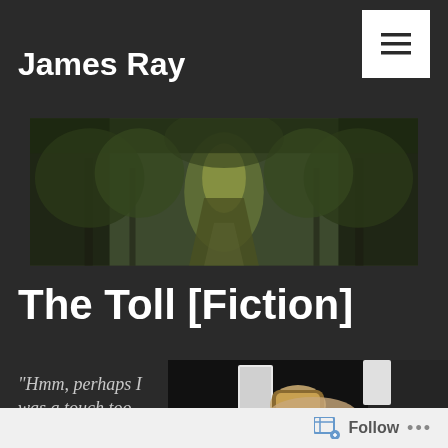James Ray
[Figure (photo): A forest path tunnel with lush green trees and foliage on both sides converging to a vanishing point]
The Toll [Fiction]
“Hmm, perhaps I was a touch too
[Figure (photo): Close-up of a person in a dark suit adjusting their watch with a gold bracelet]
Follow ...